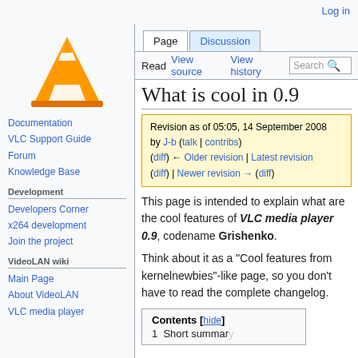Log in
[Figure (logo): VLC media player orange traffic cone logo]
Page | Discussion
Read | View source | View history | Search
What is cool in 0.9
Revision as of 05:05, 14 September 2008 by J-b (talk | contribs) (diff) ← Older revision | Latest revision (diff) | Newer revision → (diff)
This page is intended to explain what are the cool features of VLC media player 0.9, codename Grishenko.
Think about it as a "Cool features from kernelnewbies"-like page, so you don't have to read the complete changelog.
Documentation
VLC Support Guide
Forum
Knowledge Base
Development
Developers Corner
x264 development
Join the project
VideoLAN wiki
Main Page
About VideoLAN
VLC media player
| Contents [hide] |
| --- |
| 1  Short summary |